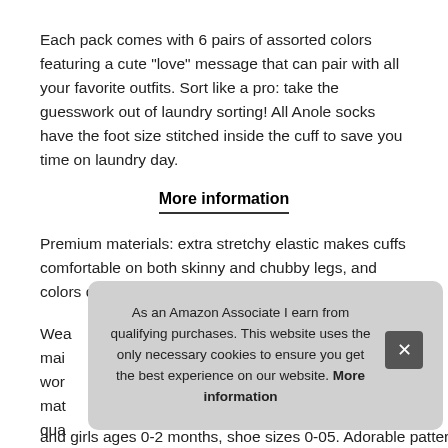Each pack comes with 6 pairs of assorted colors featuring a cute "love" message that can pair with all your favorite outfits. Sort like a pro: take the guesswork out of laundry sorting! All Anole socks have the foot size stitched inside the cuff to save you time on laundry day.
More information
Premium materials: extra stretchy elastic makes cuffs comfortable on both skinny and chubby legs, and colors don't run in the wash like other products.
Wea[rability/Sizing:] mai[n content] wor[k with] mat[erials of] qua[lity]
and girls ages 0-2 months, shoe sizes 0-05. Adorable patterns:
As an Amazon Associate I earn from qualifying purchases. This website uses the only necessary cookies to ensure you get the best experience on our website. More information